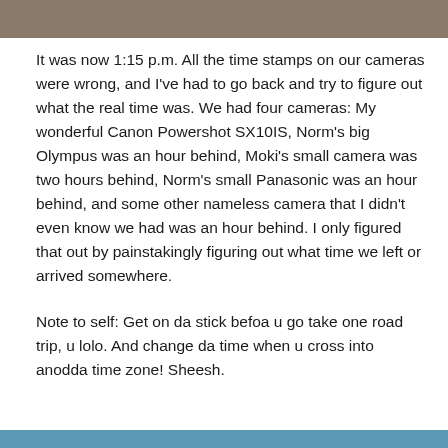[Figure (photo): Partial photo at top of page showing an outdoor scene, cropped]
It was now 1:15 p.m. All the time stamps on our cameras were wrong, and I've had to go back and try to figure out what the real time was. We had four cameras: My wonderful Canon Powershot SX10IS, Norm's big Olympus was an hour behind, Moki's small camera was two hours behind, Norm's small Panasonic was an hour behind, and some other nameless camera that I didn't even know we had was an hour behind. I only figured that out by painstakingly figuring out what time we left or arrived somewhere.
Note to self: Get on da stick befoa u go take one road trip, u lolo. And change da time when u cross into anodda time zone! Sheesh.
[Figure (photo): Partial photo at bottom of page, blue/teal colored strip]